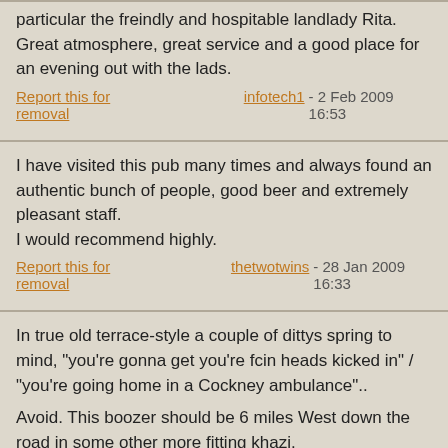particular the freindly and hospitable landlady Rita. Great atmosphere, great service and a good place for an evening out with the lads.
Report this for removal    infotech1 - 2 Feb 2009 16:53
I have visited this pub many times and always found an authentic bunch of people, good beer and extremely pleasant staff.
I would recommend highly.
Report this for removal    thetwotwins - 28 Jan 2009 16:33
In true old terrace-style a couple of dittys spring to mind, "you're gonna get you're fcin heads kicked in" / "you're going home in a Cockney ambulance"..

Avoid. This boozer should be 6 miles West down the road in some other more fitting khazi.
Report this for removal    PieFace - 9 Jul 2008 13:50